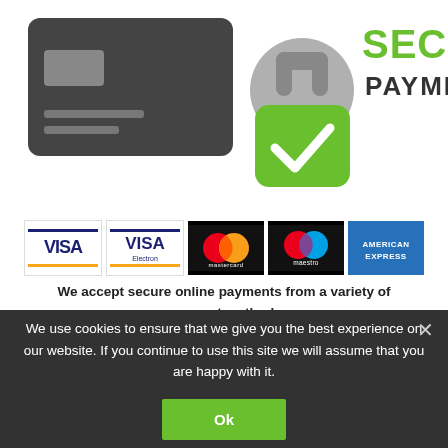[Figure (illustration): Secure payment graphic showing a credit card icon on the left, a padlock with green checkmark in the center, and 'SECURE PAYMENT' text in green and dark on the right.]
[Figure (illustration): Row of payment method logos: VISA, VISA Electron, Mastercard, Maestro, American Express]
We accept secure online payments from a variety of payment methods
OTHER PRODUCTS YOU MAY LIKE
We use cookies to ensure that we give you the best experience on our website. If you continue to use this site we will assume that you are happy with it.